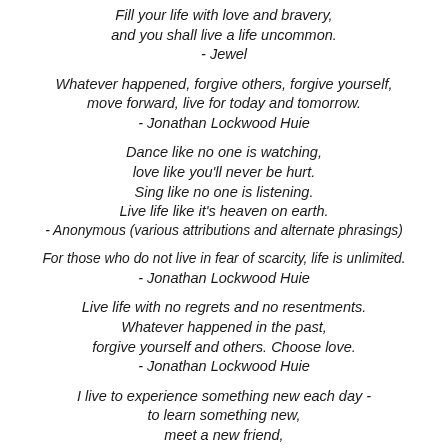Fill your life with love and bravery,
and you shall live a life uncommon.
- Jewel
Whatever happened, forgive others, forgive yourself,
move forward, live for today and tomorrow.
- Jonathan Lockwood Huie
Dance like no one is watching,
love like you'll never be hurt.
Sing like no one is listening.
Live life like it's heaven on earth.
- Anonymous (various attributions and alternate phrasings)
For those who do not live in fear of scarcity, life is unlimited.
- Jonathan Lockwood Huie
Live life with no regrets and no resentments.
Whatever happened in the past,
forgive yourself and others. Choose love.
- Jonathan Lockwood Huie
I live to experience something new each day -
to learn something new,
meet a new friend,
bring joy into someone's life